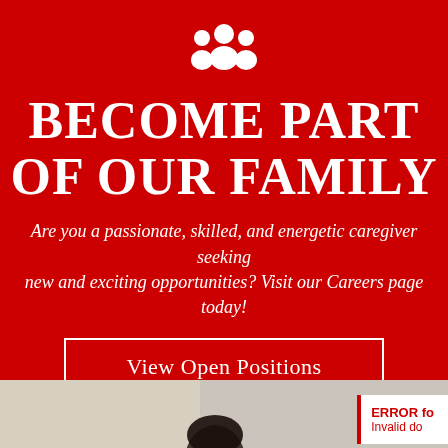[Figure (illustration): White people/group icon (silhouette of three people) on red background]
BECOME PART OF OUR FAMILY
Are you a passionate, skilled, and energetic caregiver seeking new and exciting opportunities? Visit our Careers page today!
View Open Positions
[Figure (photo): Person with dark hair visible at bottom of page, blurred/cropped background]
ERROR for Invalid do